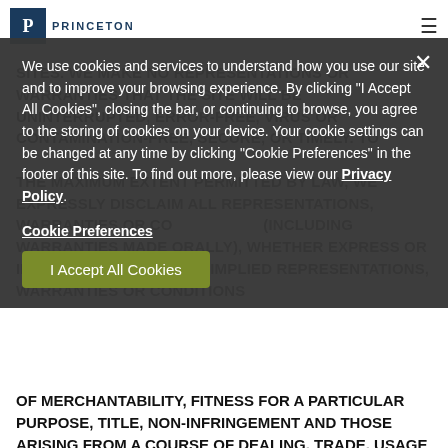Princeton
We use cookies and services to understand how you use our site and to improve your browsing experience. By clicking "I Accept All Cookies", closing the bar, or continuing to browse, you agree to the storing of cookies on your device. Your cookie settings can be changed at any time by clicking "Cookie Preferences" in the footer of this site. To find out more, please view our Privacy Policy.
Cookie Preferences
I Accept All Cookies
SITES. WE MAKE NO REPRESENTATIONS OR WARRANTIES THAT THE SITE WILL BE UNINTERRUPTED, ERROR-FREE, VIRUS OR CONTAMINATION-FREE, SECURE, OR TIMELY. TO THE MAXIMUM EXTENT PERMITTED BY LAW, WE EXPRESSLY DISCLAIM ALL REPRESENTATIONS, WARRANTIES OR CONDITIONS (INCLUDING WARRANTIES MADE ORALLY), WHETHER EXPRESS OR IMPLIED, INCLUDING THE IMPLIED REPRESENTATIONS, WARRANTIES OR CONDITIONS OF MERCHANTABILITY, FITNESS FOR A PARTICULAR PURPOSE, TITLE, NON-INFRINGEMENT AND THOSE ARISING FROM A COURSE OF DEALING, TRADE, USAGE OR PERFORMANCE. SOME JURISDICTIONS DO NOT ALLOW LIMITATIONS ON IMPLIED WARRANTIES, AND THEREFORE SOME OF THE ABOVE LIMITATIONS MAY NOT APPLY TO YOU